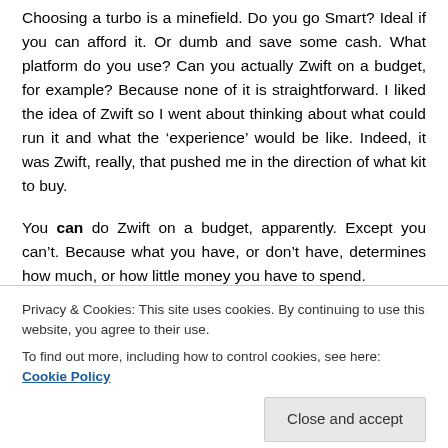Choosing a turbo is a minefield. Do you go Smart? Ideal if you can afford it. Or dumb and save some cash. What platform do you use? Can you actually Zwift on a budget, for example? Because none of it is straightforward. I liked the idea of Zwift so I went about thinking about what could run it and what the 'experience' would be like. Indeed, it was Zwift, really, that pushed me in the direction of what kit to buy.
You can do Zwift on a budget, apparently. Except you can't. Because what you have, or don't have, determines how much, or how little money you have to spend.
Privacy & Cookies: This site uses cookies. By continuing to use this website, you agree to their use.
To find out more, including how to control cookies, see here: Cookie Policy
about. There's an assumption that everyone has a PC